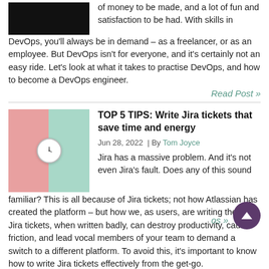[Figure (photo): Dark/black image placeholder at top left]
of money to be made, and a lot of fun and satisfaction to be had. With skills in DevOps, you'll always be in demand – as a freelancer, or as an employee. But DevOps isn't for everyone, and it's certainly not an easy ride. Let's look at what it takes to practise DevOps, and how to become a DevOps engineer.
Read Post »
[Figure (photo): Photo of a clock on a split pink and teal background]
TOP 5 TIPS: Write Jira tickets that save time and energy
Jun 28, 2022  |  By Tom Joyce
Jira has a massive problem. And it's not even Jira's fault. Does any of this sound familiar? This is all because of Jira tickets; not how Atlassian has created the platform – but how we, as users, are writing them. Jira tickets, when written badly, can destroy productivity, cause friction, and lead vocal members of your team to demand a switch to a different platform. To avoid this, it's important to know how to write Jira tickets effectively from the get-go.
Read Post »
[Figure (photo): Partial pink image at bottom left]
Atlassian alternatives: tools that (kind